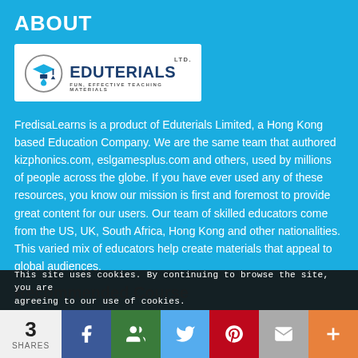ABOUT
[Figure (logo): Eduterials Ltd. logo — circular icon with graduation cap and the text EDUTERIALS, FUN, EFFECTIVE TEACHING MATERIALS]
FredisaLearns is a product of Eduterials Limited, a Hong Kong based Education Company. We are the same team that authored kizphonics.com, eslgamesplus.com and others, used by millions of people across the globe. If you have ever used any of these resources, you know our mission is first and foremost to provide great content for our users. Our team of skilled educators come from the US, UK, South Africa, Hong Kong and other nationalities. This varied mix of educators help create materials that appeal to global audiences.
This site uses cookies. By continuing to browse the site, you are agreeing to our use of cookies.
Recommended Course
3 SHARES